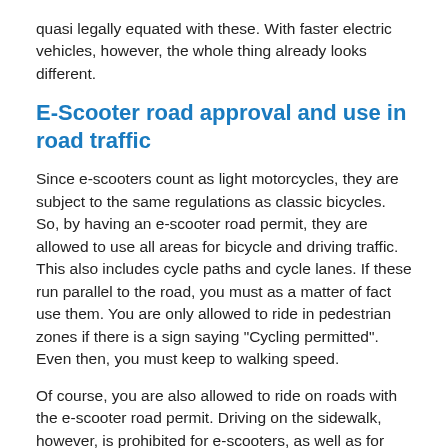quasi legally equated with these. With faster electric vehicles, however, the whole thing already looks different.
E-Scooter road approval and use in road traffic
Since e-scooters count as light motorcycles, they are subject to the same regulations as classic bicycles. So, by having an e-scooter road permit, they are allowed to use all areas for bicycle and driving traffic. This also includes cycle paths and cycle lanes. If these run parallel to the road, you must as a matter of fact use them. You are only allowed to ride in pedestrian zones if there is a sign saying "Cycling permitted". Even then, you must keep to walking speed.
Of course, you are also allowed to ride on roads with the e-scooter road permit. Driving on the sidewalk, however, is prohibited for e-scooters, as well as for bicycles. Children and teenagers under the age of 14 are also not allowed to ride the e-scooter even with road approval, however, the same goes for 14 to 16